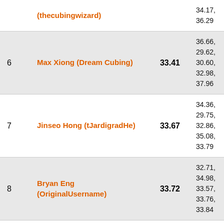| # | Name | Avg | Times |
| --- | --- | --- | --- |
|  | (thecubingwizard) |  | 34.17, 36.29 |
| 6 | Max Xiong (Dream Cubing) | 33.41 | 36.66, 29.62, 30.60, 32.98, 37.96 |
| 7 | Jinseo Hong (tJardigradHe) | 33.67 | 34.36, 29.75, 32.86, 35.08, 33.79 |
| 8 | Bryan Eng (OriginalUsername) | 33.72 | 32.71, 34.98, 33.57, 33.76, 33.84 |
| 9 | Sjviray (Sjviray) | 35.69 | 33.87, 33.22, 39.98, 42.91 |